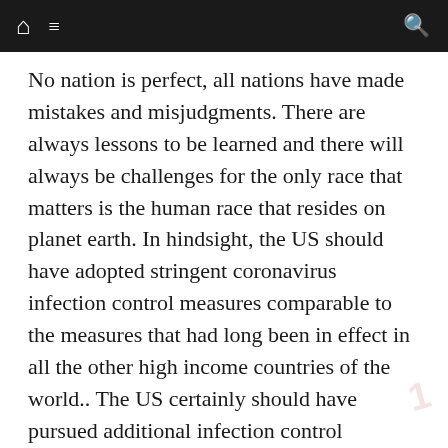Navigation bar with home, menu, and search icons
No nation is perfect, all nations have made mistakes and misjudgments. There are always lessons to be learned and there will always be challenges for the only race that matters is the human race that resides on planet earth. In hindsight, the US should have adopted stringent coronavirus infection control measures comparable to the measures that had long been in effect in all the other high income countries of the world.. The US certainly should have pursued additional infection control measures in an effort to become the world's leader in preventing deaths from COVID-19. The world should take